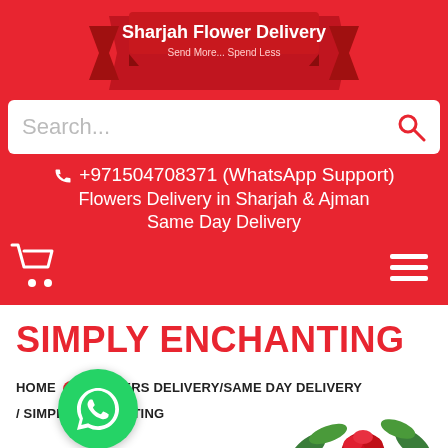[Figure (logo): Sharjah Flower Delivery banner/ribbon logo with text 'Sharjah Flower Delivery' and 'Send More... Spend Less']
Search...
+971504708371 (WhatsApp Support)
Flowers Delivery in Sharjah & Ajman
Same Day Delivery
SIMPLY ENCHANTING
HOME / FLOWERS DELIVERY/SAME DAY DELIVERY / SIMPLY ENCHANTING
[Figure (illustration): WhatsApp green circle button icon]
[Figure (photo): Partial view of flower arrangement with red roses and green leaves at bottom of page]